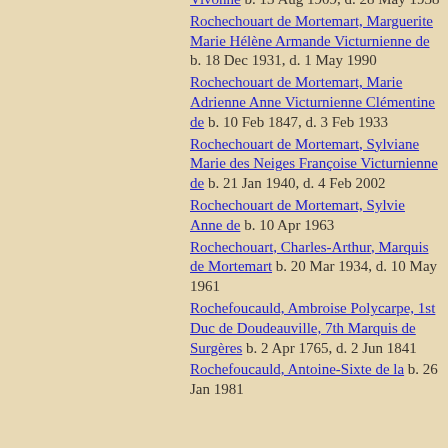Vivonne  b. 13 Aug 1909, d. 28 May 1938
Rochechouart de Mortemart, Marguerite Marie Hélène Armande Victurnienne de  b. 18 Dec 1931, d. 1 May 1990
Rochechouart de Mortemart, Marie Adrienne Anne Victurnienne Clémentine de  b. 10 Feb 1847, d. 3 Feb 1933
Rochechouart de Mortemart, Sylviane Marie des Neiges Françoise Victurnienne de  b. 21 Jan 1940, d. 4 Feb 2002
Rochechouart de Mortemart, Sylvie Anne de  b. 10 Apr 1963
Rochechouart, Charles-Arthur, Marquis de Mortemart  b. 20 Mar 1934, d. 10 May 1961
Rochefoucauld, Ambroise Polycarpe, 1st Duc de Doudeauville, 7th Marquis de Surgères  b. 2 Apr 1765, d. 2 Jun 1841
Rochefoucauld, Antoine-Sixte de la  b. 26 Jan 1981